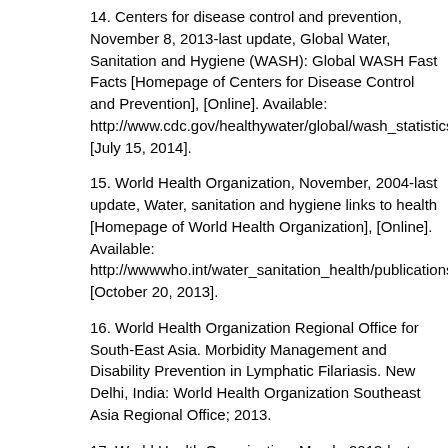14. Centers for disease control and prevention, November 8, 2013-last update, Global Water, Sanitation and Hygiene (WASH): Global WASH Fast Facts [Homepage of Centers for Disease Control and Prevention], [Online]. Available: http://www.cdc.gov/healthywater/global/wash_statistics.html [July 15, 2014].
15. World Health Organization, November, 2004-last update, Water, sanitation and hygiene links to health [Homepage of World Health Organization], [Online]. Available: http://wwwwho.int/water_sanitation_health/publications/facts2004/en/ [October 20, 2013].
16. World Health Organization Regional Office for South-East Asia. Morbidity Management and Disability Prevention in Lymphatic Filariasis. New Delhi, India: World Health Organization Southeast Asia Regional Office; 2013.
17. World Health Organization. March, 2013-last update, Fact Sheet Lymphatic Filariasis [Homepage of World Health Organization], [Online]. Available: http://wwwwho.int/mediacentre/factsheets/fs102/en/